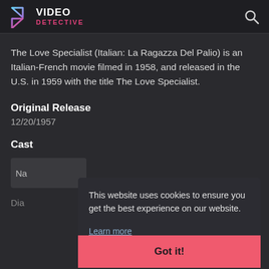VIDEO DETECTIVE
The Love Specialist (Italian: La Ragazza Del Palio) is an Italian-French movie filmed in 1958, and released in the U.S. in 1959 with the title The Love Specialist.
Original Release
12/20/1957
Cast
Na
Dia
This website uses cookies to ensure you get the best experience on our website. Learn more
Got it!